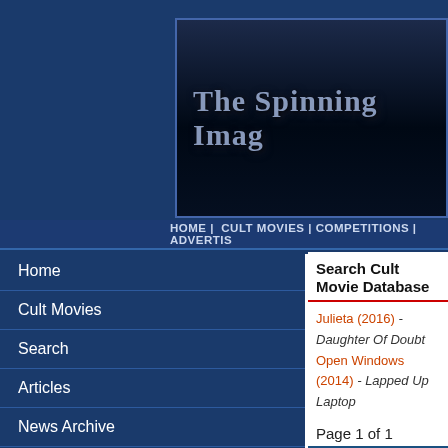The Spinning Image
HOME | CULT MOVIES | COMPETITIONS | ADVERTIS
Home
Cult Movies
Search
Articles
News Archive
Newsletters
Polls
Competitions
Links
Advertise
Search Cult Movie Database
Julieta (2016) - Daughter Of Doubt
Open Windows (2014) - Lapped Up Laptop
Page 1 of 1
Title:
Director:
Year: (Tip - enter '197' for all films i...
Starring: Michelle Jenner
Co-Starring:
Review containing:
Genre1:
Genre2: